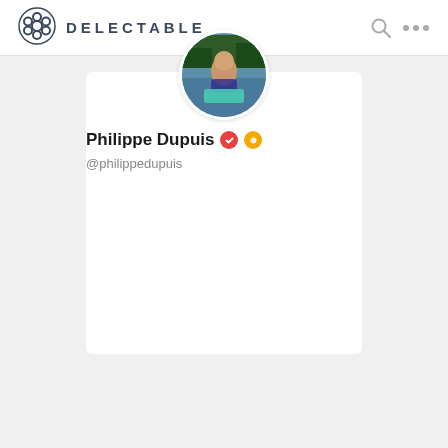DELECTABLE
[Figure (photo): Circular profile photo of Philippe Dupuis outdoors near water]
Philippe Dupuis
@philippedupuis